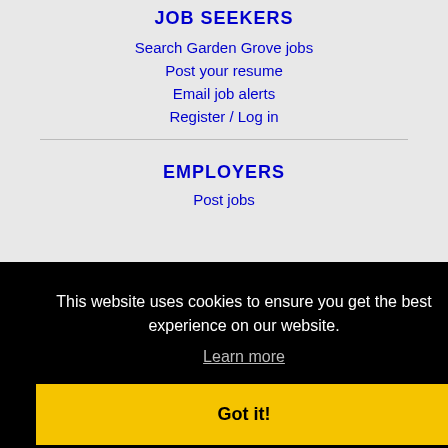JOB SEEKERS
Search Garden Grove jobs
Post your resume
Email job alerts
Register / Log in
EMPLOYERS
Post jobs
This website uses cookies to ensure you get the best experience on our website.
Learn more
Got it!
Learn more